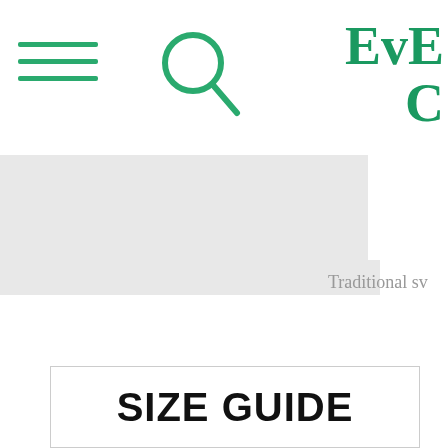Navigation header with hamburger menu, search icon, and logo (Ev... C...)
[Figure (screenshot): Website header with three green hamburger menu lines on the left, a green magnifying glass search icon in the center, and a partial green serif bold logo text 'Ev... C...' on the right]
Traditional sw
SIZE GUIDE